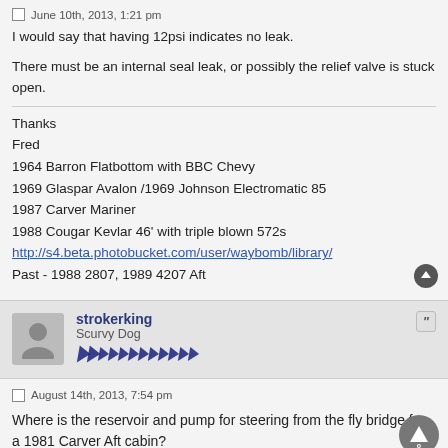June 10th, 2013, 1:21 pm
I would say that having 12psi indicates no leak.
There must be an internal seal leak, or possibly the relief valve is stuck open.
Thanks
Fred
1964 Barron Flatbottom with BBC Chevy
1969 Glaspar Avalon /1969 Johnson Electromatic 85
1987 Carver Mariner
1988 Cougar Kevlar 46' with triple blown 572s
http://s4.beta.photobucket.com/user/waybomb/library/
Past - 1988 2807, 1989 4207 Aft
strokerking
Scurvy Dog
August 14th, 2013, 7:54 pm
Where is the reservoir and pump for steering from the fly bridge for a 1981 Carver Aft cabin?